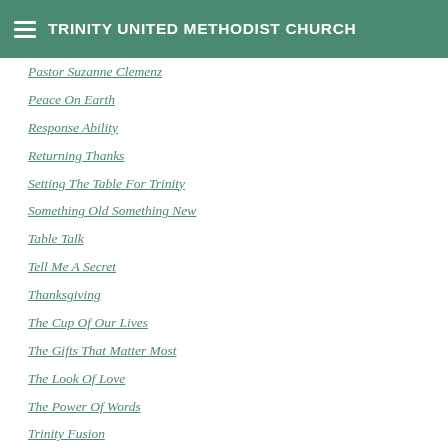TRINITY UNITED METHODIST CHURCH
Pastor Suzanne Clemenz
Peace On Earth
Response Ability
Returning Thanks
Setting The Table For Trinity
Something Old Something New
Table Talk
Tell Me A Secret
Thanksgiving
The Cup Of Our Lives
The Gifts That Matter Most
The Look Of Love
The Power Of Words
Trinity Fusion
Unwrap Your Gift
What Do You See?